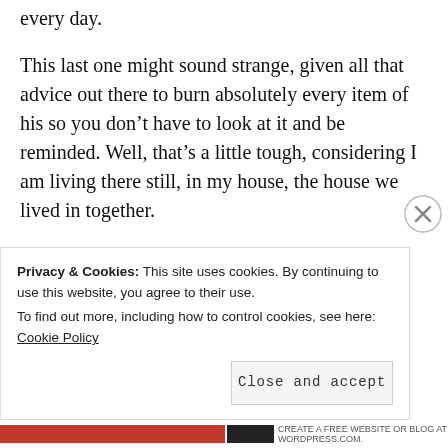every day.
This last one might sound strange, given all that advice out there to burn absolutely every item of his so you don’t have to look at it and be reminded. Well, that’s a little tough, considering I am living there still, in my house, the house we lived in together.
He packed up all his clothes and
Privacy & Cookies: This site uses cookies. By continuing to use this website, you agree to their use.
To find out more, including how to control cookies, see here: Cookie Policy
Close and accept